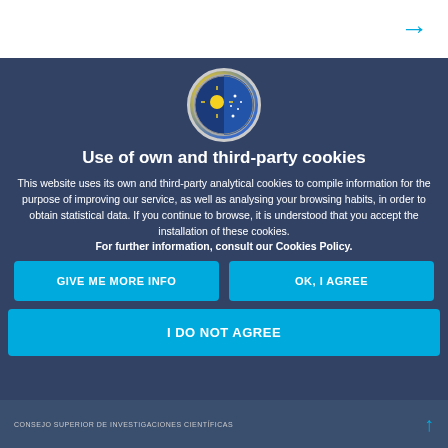[Figure (screenshot): Cookie consent modal overlay on an astronomy institute website (IAC - Instituto de Astrofísica de Canarias). Contains a circular logo at the top, a bold title, descriptive text about cookie usage, and three buttons.]
Use of own and third-party cookies
This website uses its own and third-party analytical cookies to compile information for the purpose of improving our service, as well as analysing your browsing habits, in order to obtain statistical data. If you continue to browse, it is understood that you accept the installation of these cookies. For further information, consult our Cookies Policy.
GIVE ME MORE INFO
OK, I AGREE
I DO NOT AGREE